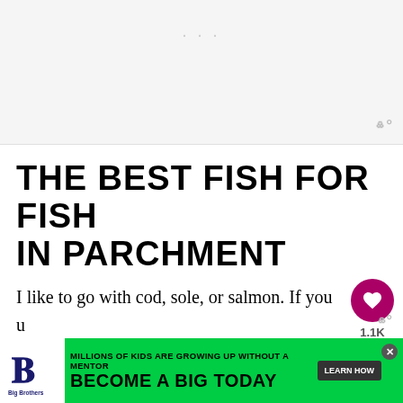[Figure (other): Top advertisement placeholder area with gray background and three dot indicators, with a Watt icon in the bottom right corner]
THE BEST FISH FOR FISH IN PARCHMENT
I like to go with cod, sole, or salmon. If you use sole, keep in mind that it's typically cut into thinner fillets – it's less dense compared to cod. So, you might need to adjust the cooking time
[Figure (other): Bottom advertisement banner for Big Brothers Big Sisters of America with green background. Text reads: MILLIONS OF KIDS ARE GROWING UP WITHOUT A MENTOR. BECOME A BIG TODAY. Learn How button.]